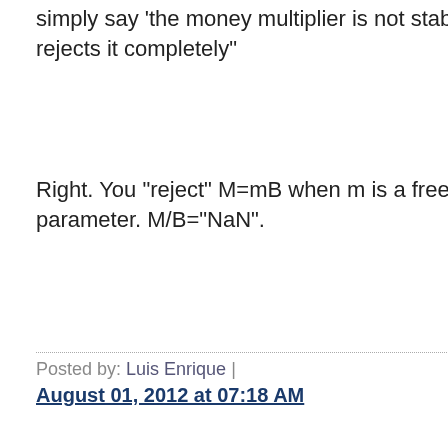simply say 'the money multiplier is not stable.' It rejects it completely"
Right. You "reject" M=mB when m is a free parameter. M/B="NaN".
Posted by: Luis Enrique | August 01, 2012 at 07:18 AM
Edmund: (a) Reducing the constrained optimization problem to a linear programming requires so many assumptions about the shape of the utility function that you might as well just throw away the utility function